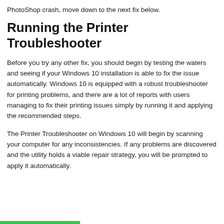PhotoShop crash, move down to the next fix below.
Running the Printer Troubleshooter
Before you try any other fix, you should begin by testing the waters and seeing if your Windows 10 installation is able to fix the issue automatically. Windows 10 is equipped with a robust troubleshooter for printing problems, and there are a lot of reports with users managing to fix their printing issues simply by running it and applying the recommended steps.
The Printer Troubleshooter on Windows 10 will begin by scanning your computer for any inconsistencies. If any problems are discovered and the utility holds a viable repair strategy, you will be prompted to apply it automatically.